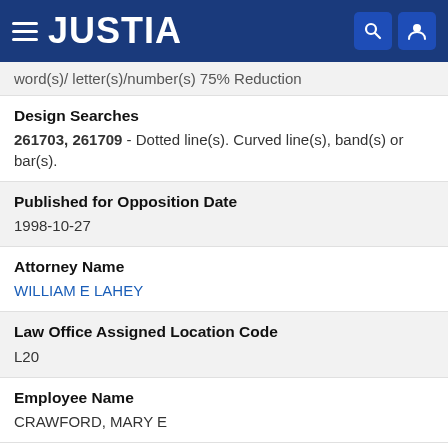JUSTIA
word(s)/ letter(s)/number(s) 75% Reduction
Design Searches
261703, 261709 - Dotted line(s). Curved line(s), band(s) or bar(s).
Published for Opposition Date
1998-10-27
Attorney Name
WILLIAM E LAHEY
Law Office Assigned Location Code
L20
Employee Name
CRAWFORD, MARY E